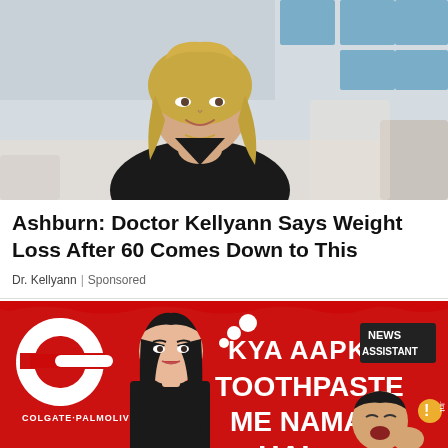[Figure (photo): Woman with blonde hair sitting on a couch, wearing black, smiling with hand under chin. TV studio setting visible in background with blue window tiles.]
Ashburn: Doctor Kellyann Says Weight Loss After 60 Comes Down to This
Dr. Kellyann | Sponsored
[Figure (illustration): Colgate-Palmolive advertisement banner on red background. Shows illustrated cartoon woman and man. Text reads 'KYA AAPKE TOOTHPASTE ME NAMAK HAI'. Colgate-Palmolive logo on left. NEWS ASSISTANT badge on right.]